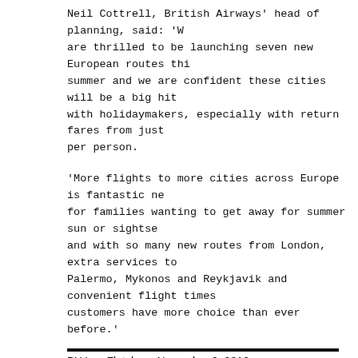Neil Cottrell, British Airways' head of planning, said: 'We are thrilled to be launching seven new European routes this summer and we are confident these cities will be a big hit with holidaymakers, especially with return fares from just per person.
'More flights to more cities across Europe is fantastic news for families wanting to get away for summer sun or sightseeing and with so many new routes from London, extra services to Palermo, Mykonos and Reykjavik and convenient flight times, customers have more choice than ever before.'
BY Lee Fletcher - November 2, 2016
Related Articles
Holidays